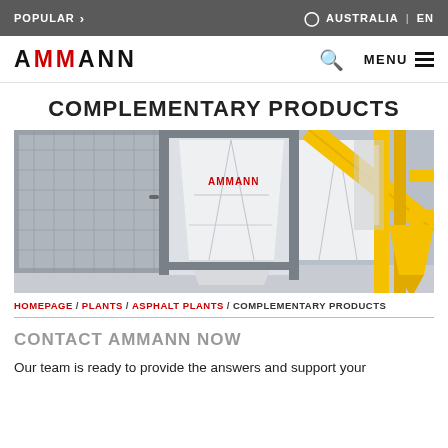POPULAR > | AUSTRALIA | EN
[Figure (logo): AMMANN logo in black bold text with red M letters, with search icon and MENU hamburger navigation]
COMPLEMENTARY PRODUCTS
[Figure (photo): Industrial asphalt plant equipment showing silver diamond-plate panels on left, white AMMANN-branded hopper/silo units in center, yellow structural steel framework and conveyor on the right, inside an industrial facility]
HOMEPAGE / PLANTS / ASPHALT PLANTS / COMPLEMENTARY PRODUCTS
CONTACT AMMANN NOW
Our team is ready to provide the answers and support your